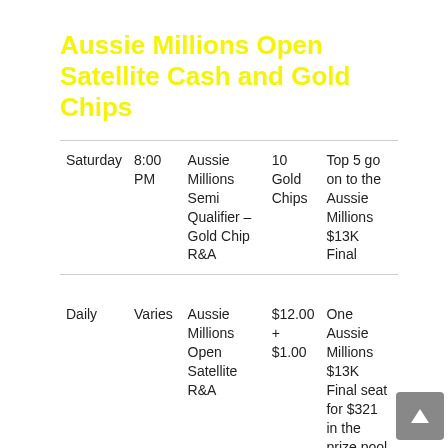Aussie Millions Open Satellite Cash and Gold Chips
| Saturday | 8:00 PM | Aussie Millions Semi Qualifier – Gold Chip R&A | 10 Gold Chips | Top 5 go on to the Aussie Millions $13K Final |
| Daily | Varies | Aussie Millions Open Satellite R&A | $12.00 + $1.00 | One Aussie Millions $13K Final seat for $321 in the prize pool |